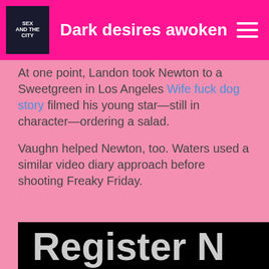Dark desires awoken
At one point, Landon took Newton to a Sweetgreen in Los Angeles Wife fuck dog story filmed his young star—still in character—ordering a salad.
Vaughn helped Newton, too. Waters used a similar video diary approach before shooting Freaky Friday.
[Figure (screenshot): Black image area with partial text 'Register N' visible at the bottom in large light gray letters on black background]